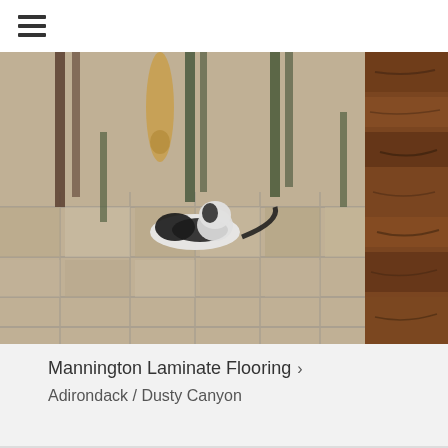☰
[Figure (photo): Photo of a room with bar stools and a cat lying on Mannington laminate flooring in Adirondack / Dusty Canyon style. A second partial image on the right shows wood-look laminate flooring in a warm brown tone.]
Mannington Laminate Flooring ›
Adirondack / Dusty Canyon